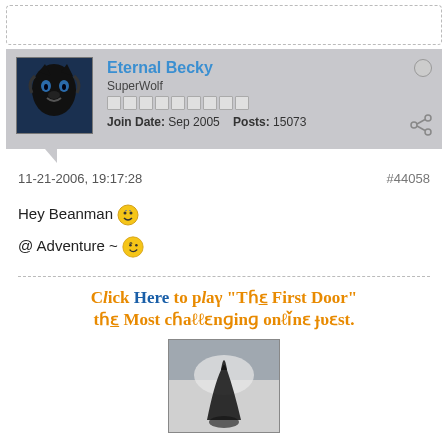Eternal Becky
SuperWolf
Join Date: Sep 2005  Posts: 15073
11-21-2006, 19:17:28   #44058
Hey Beanman 😊

@ Adventure ~ 😉
Click Here to play "The First Door" the most challenging online quest.
[Figure (photo): Black and white photo of a wolf howling]